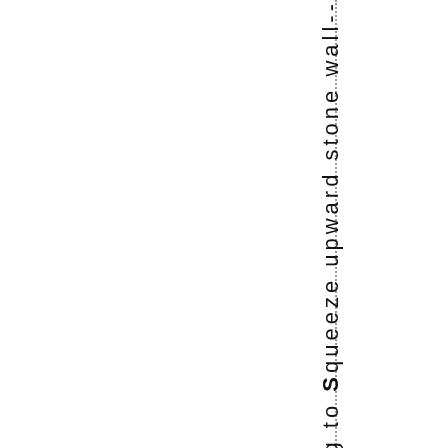oking to Squeeze upward stone wall--